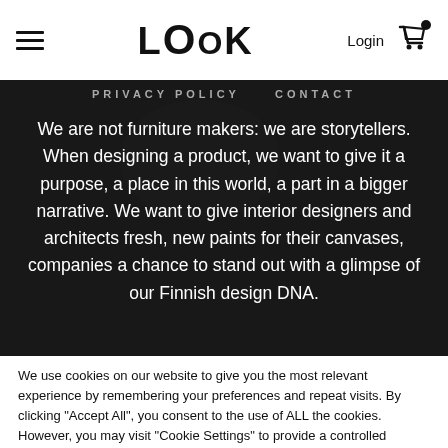LOOOK — Login — Cart
PRIVACY POLICY   CONTACT
We are not furniture makers: we are storytellers. When designing a product, we want to give it a purpose, a place in this world, a part in a bigger narrative. We want to give interior designers and architects fresh, new paints for their canvases, companies a chance to stand out with a glimpse of our Finnish design DNA.
We use cookies on our website to give you the most relevant experience by remembering your preferences and repeat visits. By clicking "Accept All", you consent to the use of ALL the cookies. However, you may visit "Cookie Settings" to provide a controlled consent.